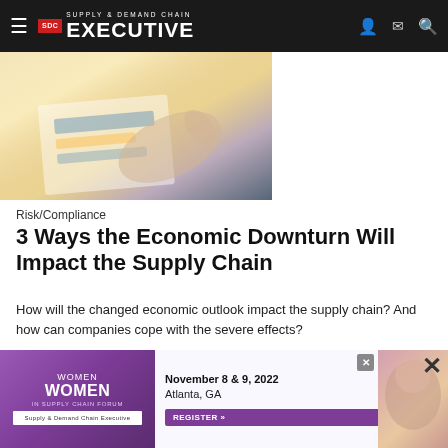Supply & Demand Chain Executive
[Figure (photo): Person pointing at documents/charts on a table, warm golden lighting]
Risk/Compliance
3 Ways the Economic Downturn Will Impact the Supply Chain
How will the changed economic outlook impact the supply chain? And how can companies cope with the severe effects?
Fero Labs
August 24, 2022
[Figure (photo): Partially visible second article image, dark blue tones]
[Figure (other): Advertisement banner: Women in Supply Chain Forum, November 8 & 9, 2022, Atlanta, GA, Register button]